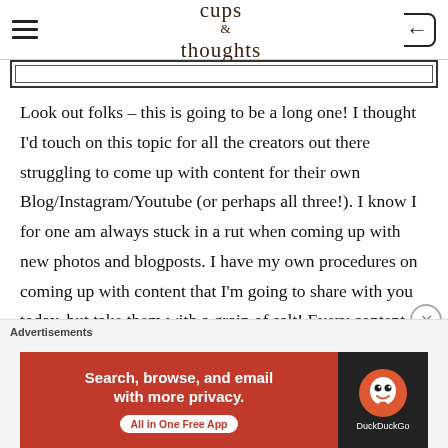cups of thoughts
[Figure (other): Thin rectangular placeholder image outline below the header navigation bar]
Look out folks – this is going to be a long one! I thought I'd touch on this topic for all the creators out there struggling to come up with content for their own Blog/Instagram/Youtube (or perhaps all three!). I know I for one am always stuck in a rut when coming up with new photos and blogposts. I have my own procedures on coming up with content that I'm going to share with you today, but take them with a grain of salt! Every content creator
[Figure (screenshot): DuckDuckGo advertisement banner: orange/red background with text 'Search, browse, and email with more privacy. All in One Free App' and DuckDuckGo logo on dark background]
Advertisements